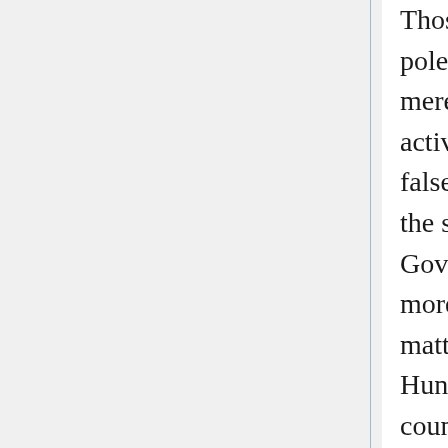Those who have followed the course of these polemics will know that the Belgrade newspapers merely acted in self-defence, confining their activities to denials and to the refutation of falsehoods designed to mislead public opinion, at the same time attempting to convince foreign Governments (which, being occupied with other and more serious affairs, had no time to go into the matter themselves) of the intention of the Austro-Hungarian press to excite public opinion in its own country and abroad.
The Serbian Government at once expressed their readiness to hand over to justice any of their subjects who might be proved to have played a part in the Serajevo outrage. The Serbian Government further stated that they had